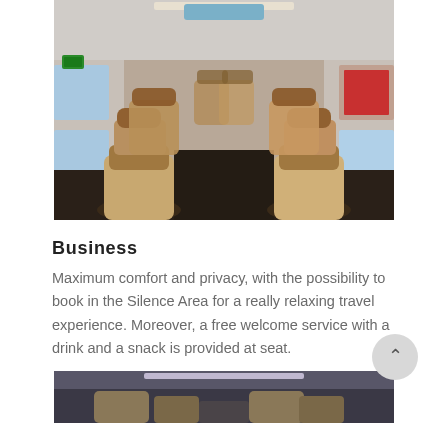[Figure (photo): Interior of a high-speed train business class carriage showing large beige leather reclining seats on both sides of a central aisle, overhead lighting, and a dark floor.]
Business
Maximum comfort and privacy, with the possibility to book in the Silence Area for a really relaxing travel experience. Moreover, a free welcome service with a drink and a snack is provided at seat.
[Figure (photo): Partial view of another train interior at the bottom of the page.]